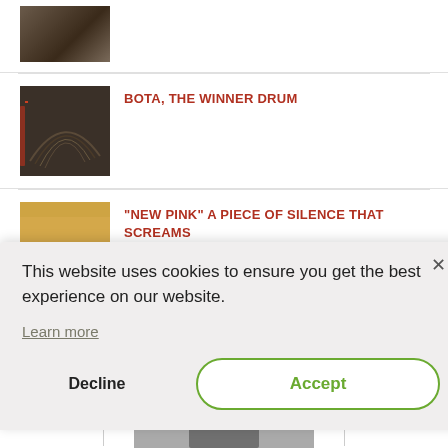[Figure (photo): Small thumbnail photo, partially visible at top, dark tones]
BOTA, THE WINNER DRUM
[Figure (photo): Open book with pages fanning, dark moody tones]
“NEW PINK” A PIECE OF SILENCE THAT SCREAMS
[Figure (photo): Open book pages fanning, warm golden tones]
This website uses cookies to ensure you get the best experience on our website.
Learn more
Decline
Accept